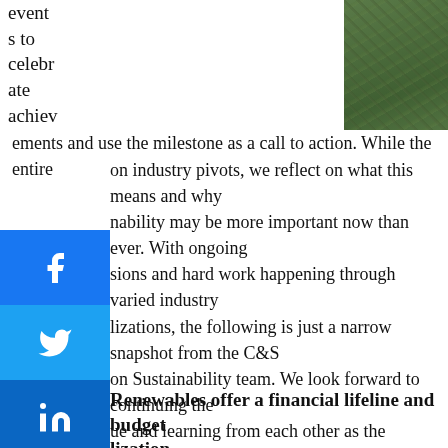[Figure (photo): Aerial or ground-level photograph of green vegetation/grass area, partially visible at top right of page]
events to celebrate achievements and use the milestone as a call to action. While the entire on industry pivots, we reflect on what this means and why nability may be more important now than ever. With ongoing sions and hard work happening through varied industry lizations, the following is just a narrow snapshot from the C&S on Sustainability team. We look forward to continuing the ue and learning from each other as the situation continues to e.
Renewables offer a financial lifeline and budget lization
n't long ago airports were installing relatively small solar ns as a public commitment to "going green." The cost of renewables, even just 10-15 years ago, was so prohibitively high that renewables were reserved for only the most committed stewards. That dynamic has shifted considerably in recent years, where renewables have become a business proposition to airports. Rapidly declining prices and significant incentives have made large-scale renewables, particularly solar, attractive development options. These systems enable airports to lock in stabilized electricity rates for as long as 25 or 30 years, helping to reduce uncertainty in long